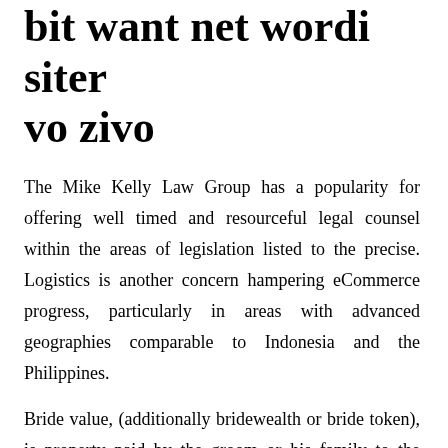bit want net wordi siter vo zivo
The Mike Kelly Law Group has a popularity for offering well timed and resourceful legal counsel within the areas of legislation listed to the precise. Logistics is another concern hampering eCommerce progress, particularly in areas with advanced geographies comparable to Indonesia and the Philippines.
Bride value, (additionally bridewealth or bride token), is property paid by the groom or his family to the mother and father of a woman upon the wedding of their daughter to the groom.
Consists of actual time monitoring of gameplay to keep monitor of what number of hours spent on specific titles